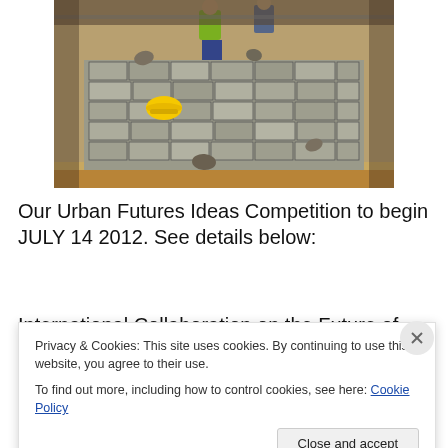[Figure (photo): Construction workers laying large stone/cobblestone pavers on a sandy base. A worker in a yellow safety vest squats in the background. A yellow hard hat lies among the stones in the foreground.]
Our Urban Futures Ideas Competition to begin JULY 14 2012. See details below:
International Collaboration on the Future of Cairo –
Privacy & Cookies: This site uses cookies. By continuing to use this website, you agree to their use.
To find out more, including how to control cookies, see here: Cookie Policy